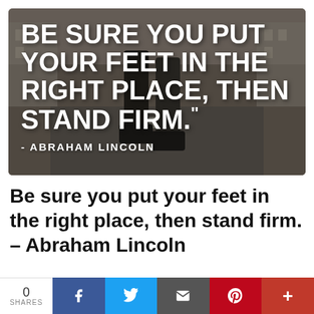[Figure (photo): A motivational quote image showing legs/feet walking on a street, with bold white text overlay reading 'BE SURE YOU PUT YOUR FEET IN THE RIGHT PLACE, THEN STAND FIRM.' attributed to '- ABRAHAM LINCOLN']
Be sure you put your feet in the right place, then stand firm. – Abraham Lincoln
0 SHARES | Facebook | Twitter | Email | Pinterest | +